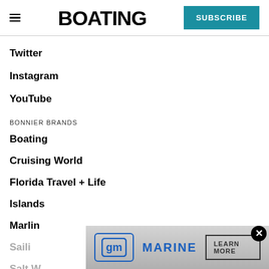BOATING
Twitter
Instagram
YouTube
BONNIER BRANDS
Boating
Cruising World
Florida Travel + Life
Islands
Marlin
Sailing
Salt Water Sportsman
[Figure (infographic): GM Marine advertisement banner with GM logo and LEARN MORE button]